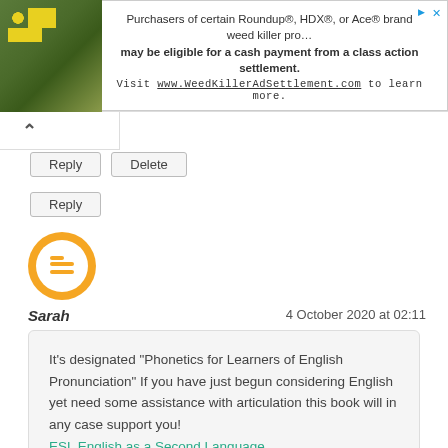[Figure (other): Advertisement banner: green plant photo on left, text 'Purchasers of certain Roundup®, HDX®, or Ace® brand weed killer pro… may be eligible for a cash payment from a class action settlement. Visit www.WeedKillerAdSettlement.com to learn more.' with close/sponsored icons on right.]
^
Reply   Delete
Reply
[Figure (logo): Blogger orange circle avatar icon with white B letter]
Sarah
4 October 2020 at 02:11
It's designated "Phonetics for Learners of English Pronunciation" If you have just begun considering English yet need some assistance with articulation this book will in any case support you!
ESL English as a Second Language
Reply   Delete
Reply